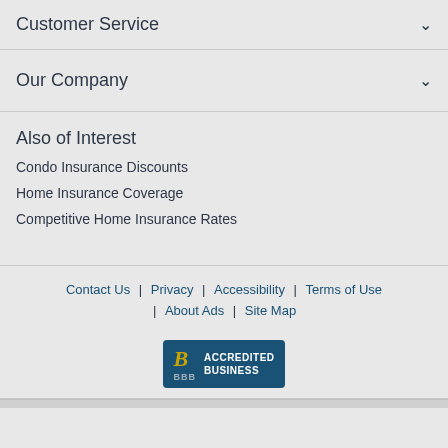Customer Service
Our Company
Also of Interest
Condo Insurance Discounts
Home Insurance Coverage
Competitive Home Insurance Rates
Contact Us | Privacy | Accessibility | Terms of Use | About Ads | Site Map
[Figure (logo): BBB Accredited Business badge with gold B symbol on dark teal background]